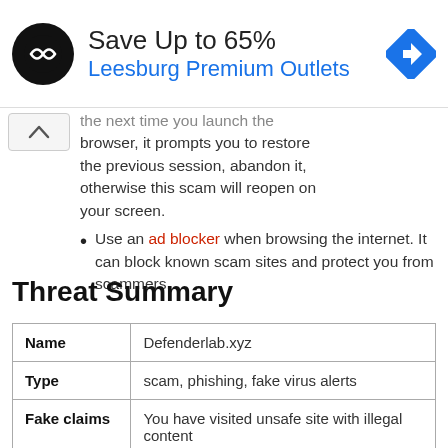[Figure (other): Ad banner: logo (black circle with double-arrow icon), text 'Save Up to 65%' and 'Leesburg Premium Outlets' in blue, and blue navigation diamond icon on the right.]
the next time you launch the browser, it prompts you to restore the previous session, abandon it, otherwise this scam will reopen on your screen.
Use an ad blocker when browsing the internet. It can block known scam sites and protect you from scammers.
Threat Summary
|  |  |
| --- | --- |
| Name | Defenderlab.xyz |
| Type | scam, phishing, fake virus alerts |
| Fake claims | You have visited unsafe site with illegal content |